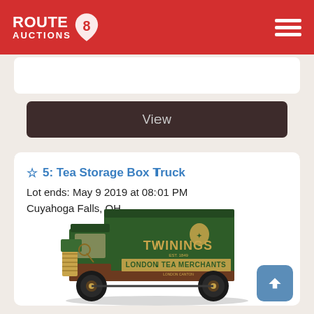ROUTE AUCTIONS
View
5: Tea Storage Box Truck
Lot ends: May 9 2019 at 08:01 PM
Cuyahoga Falls, OH
[Figure (photo): A vintage-style die-cast Twinings London Tea Merchants dark green box truck model]